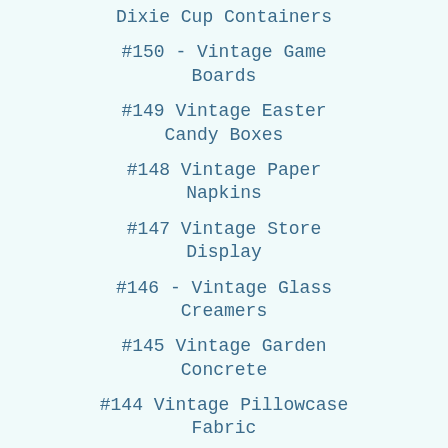Dixie Cup Containers
#150 - Vintage Game Boards
#149 Vintage Easter Candy Boxes
#148 Vintage Paper Napkins
#147 Vintage Store Display
#146 - Vintage Glass Creamers
#145 Vintage Garden Concrete
#144 Vintage Pillowcase Fabric
#143 - Vintage Valentine Card Boxes
#142 Vintage Plastic Pig Banks